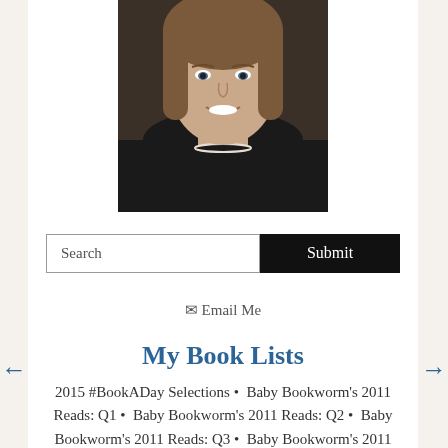[Figure (photo): Headshot of a woman with brown shoulder-length hair, wearing a dark jacket and pearl necklace, smiling at the camera.]
Search
Submit
✉ Email Me
My Book Lists
2015 #BookADay Selections • Baby Bookworm's 2011 Reads: Q1 • Baby Bookworm's 2011 Reads: Q2 • Baby Bookworm's 2011 Reads: Q3 • Baby Bookworm's 2011 Reads: Q4 • Baby Bookworm's